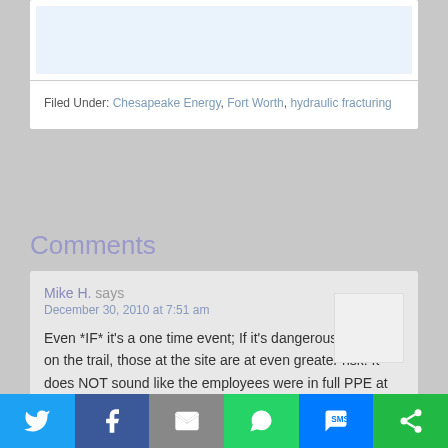Filed Under: Chesapeake Energy, Fort Worth, hydraulic fracturing
Comments
Mike H. says
December 30, 2010 at 7:51 am
Even *IF* it's a one time event; If it's dangerous for those on the trail, those at the site are at even greater risk! It does NOT sound like the employees were in full PPE at the
[Figure (infographic): Social sharing bar at bottom with icons: Twitter (blue), Facebook (dark blue), Email (grey), WhatsApp (green), SMS (blue), More/share (green)]